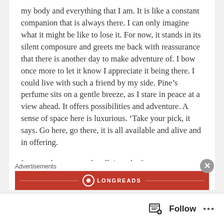my body and everything that I am. It is like a constant companion that is always there. I can only imagine what it might be like to lose it. For now, it stands in its silent composure and greets me back with reassurance that there is another day to make adventure of. I bow once more to let it know I appreciate it being there. I could live with such a friend by my side. Pine’s perfume sits on a gentle breeze, as I stare in peace at a view ahead. It offers possibilities and adventure. A sense of space here is luxurious. ‘Take your pick, it says. Go here, go there, it is all available and alive and in offering.
I put my boots on and walk into the forest. Immediately a feeling of peace envelopes me. I feel
Advertisements
[Figure (logo): Longreads logo banner in red with circular logo mark and LONGREADS text in white on red background]